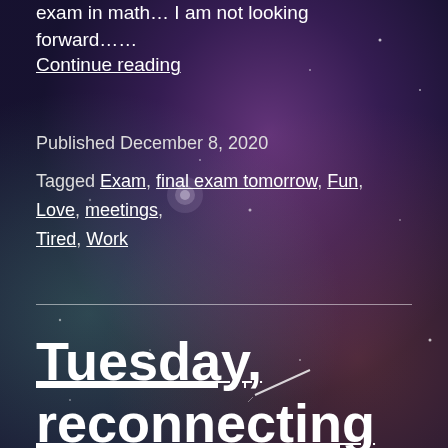exam in math… I am not looking forward……
Continue reading
Published December 8, 2020
Tagged Exam, final exam tomorrow, Fun, Love, meetings, Tired, Work
Tuesday, reconnecting to dreams